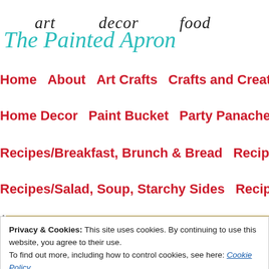art   decor   food
The Painted Apron
Home   About   Art Crafts   Crafts and Creations
Home Decor   Paint Bucket   Party Panache   Pr
Recipes/Breakfast, Brunch & Bread   Recipes/Cro
Recipes/Salad, Soup, Starchy Sides   Recipes/Veg
Privacy & Cookies: This site uses cookies. By continuing to use this website, you agree to their use.
To find out more, including how to control cookies, see here: Cookie Policy
Close and accept